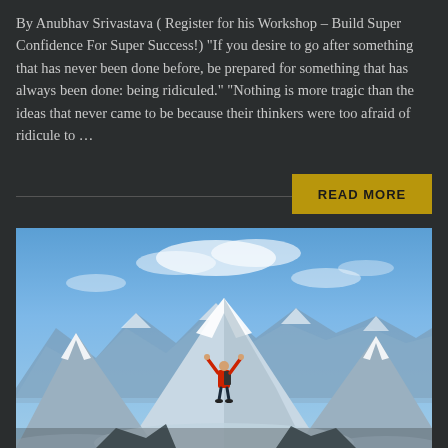By Anubhav Srivastava ( Register for his Workshop – Build Super Confidence For Super Success!) "If you desire to go after something that has never been done before, be prepared for something that has always been done: being ridiculed." "Nothing is more tragic than the ideas that never came to be because their thinkers were too afraid of ridicule to …
READ MORE
[Figure (photo): A person in a red jacket standing on a snowy mountain peak with arms raised in triumph, surrounded by snow-covered mountain ranges under a blue sky with clouds.]